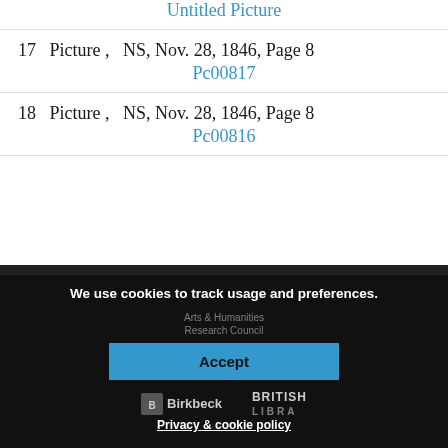Untitled Picture
17   Picture ,   NS, Nov. 28, 1846, Page 8
Pc00817
18   Picture ,   NS, Nov. 28, 1846, Page 8
Pc00816
We use cookies to track usage and preferences.
Accept
Privacy & cookie policy